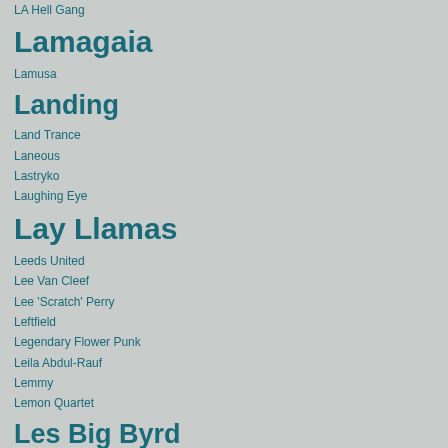LA Hell Gang
Lamagaia
Lamusa
Landing
Land Trance
Laneous
Lastryko
Laughing Eye
Lay Llamas
Leeds United
Lee Van Cleef
Lee 'Scratch' Perry
Leftfield
Legendary Flower Punk
Leila Abdul-Rauf
Lemmy
Lemon Quartet
Les Big Byrd
Les Lekin
le_mol
Libido Fuzz
Lisboa International Festival of Psychedelia